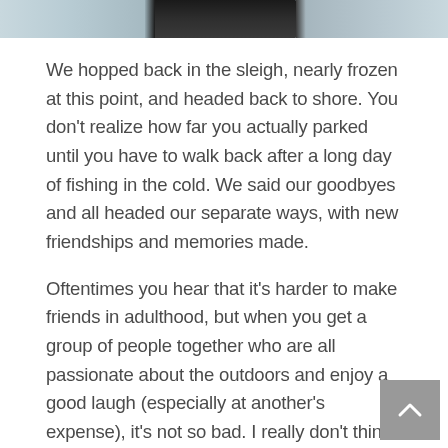[Figure (photo): Top strip showing partial photograph, appears to be a person in dark clothing against a wintry/icy outdoor background]
We hopped back in the sleigh, nearly frozen at this point, and headed back to shore. You don't realize how far you actually parked until you have to walk back after a long day of fishing in the cold. We said our goodbyes and all headed our separate ways, with new friendships and memories made.
Oftentimes you hear that it's harder to make friends in adulthood, but when you get a group of people together who are all passionate about the outdoors and enjoy a good laugh (especially at another's expense), it's not so bad. I really don't think we could have asked for a more perfect day for this event to take place, although maybe next time Dana could offer a guarantee of fish??? All jokes aside, I